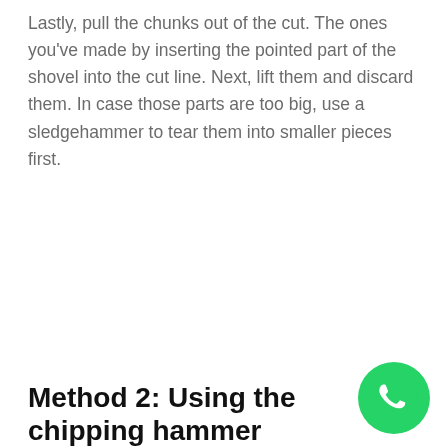Lastly, pull the chunks out of the cut. The ones you've made by inserting the pointed part of the shovel into the cut line. Next, lift them and discard them. In case those parts are too big, use a sledgehammer to tear them into smaller pieces first.
Method 2: Using the chipping hammer
[Figure (logo): WhatsApp chat button icon — green circle with white phone/chat handset logo]